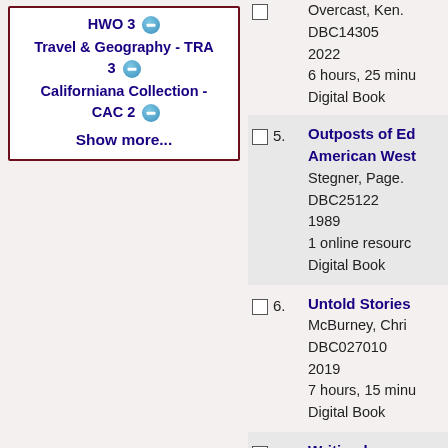HWO 3 [minus] Travel & Geography - TRA 3 [minus] Californiana Collection - CAC 2 [minus]
Show more...
4. [result cropped] Overcast, Ken. DBC14305 2022 6 hours, 25 minu... Digital Book
5. Outposts of Ed... American West... Stegner, Page. DBC25122 1989 1 online resourc... Digital Book
6. Untold Stories... McBurney, Chri... DBC027010 2019 7 hours, 15 minu... Digital Book
7. Writing home a...